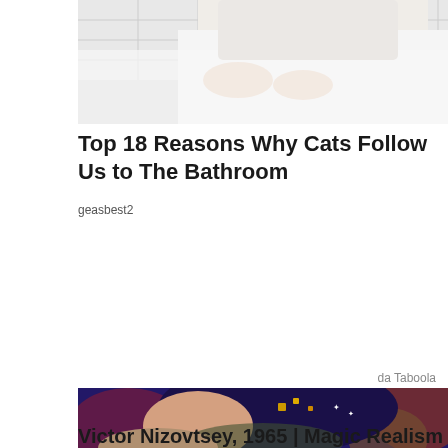[Figure (photo): A person washing hands at a bathroom sink with white tiles in the background]
Top 18 Reasons Why Cats Follow Us to The Bathroom
geasbest2
da Taboola
[Figure (illustration): A painting of a woman in profile with dark hair adorned with gold and star decorations, painted in a Magic Realism style with colorful abstract background]
Victor Nizovtsey, 1965 | Magic Realism painter